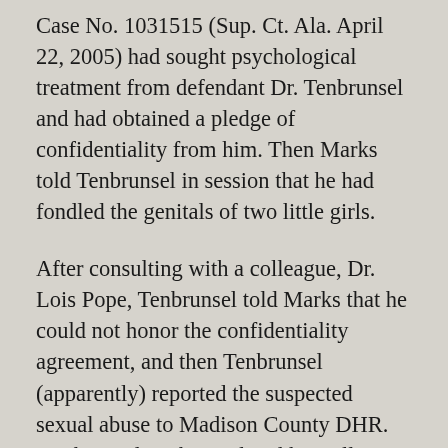Case No. 1031515 (Sup. Ct. Ala. April 22, 2005) had sought psychological treatment from defendant Dr. Tenbrunsel and had obtained a pledge of confidentiality from him. Then Marks told Tenbrunsel in session that he had fondled the genitals of two little girls.
After consulting with a colleague, Dr. Lois Pope, Tenbrunsel told Marks that he could not honor the confidentiality agreement, and then Tenbrunsel (apparently) reported the suspected sexual abuse to Madison County DHR. Marks sued Tenbrunsel and his colleague for malpractice, misrepresentation of material facts, fraud, and fraudulent deceit. The defendants moved to dismiss pursuant to Rule